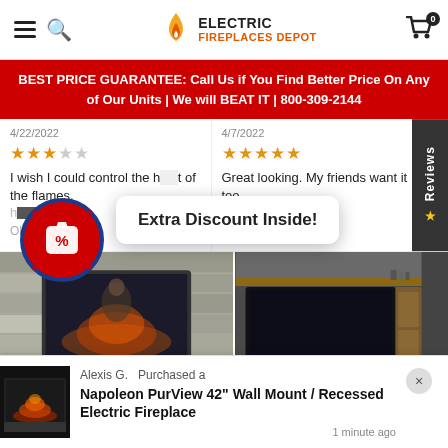Electric Fireplaces Depot — navigation header with hamburger, search, logo, and cart icon
BEST PRICE GUARANTEE: Call Us if You Find Better Price On Any of Our Units | We will BEAT IT | 800-309-2144
4/22/2022 — 3 star review: I wish I could control the height of the flames.
4/7/2022 — 5 star review: Great looking. My friends want it too.
[Figure (infographic): Discount badge/seal with percent tag icon]
Extra Discount Inside!
[Figure (photo): Wall-mounted electric fireplace in stone surround]
[Figure (photo): Electric fireplace installed in dark wall entertainment center]
Alexis G. Purchased a Napoleon PurView 42'' Wall Mount / Recessed Electric Fireplace — 1 minute ago